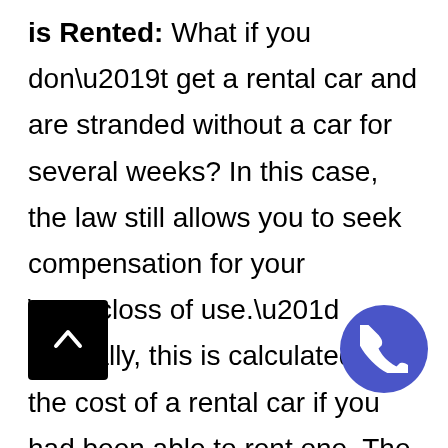is Rented: What if you don't get a rental car and are stranded without a car for several weeks? In this case, the law still allows you to seek compensation for your “loss of use.” Typically, this is calculated by the cost of a rental car if you had been able to rent one. The Texas Supreme Court case LUNA v. NORTH STAR DODGE SALES, INC., 667 S.W.2d 115 discusses this situation (1984). In case, the Supreme Court states